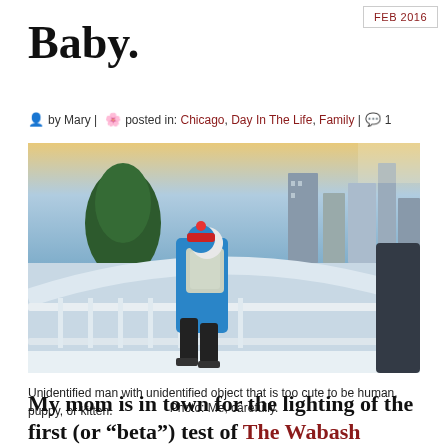FEB 2016
Baby.
by Mary | posted in: Chicago, Day In The Life, Family | 1
[Figure (photo): A person in a blue jacket carrying a baby on their back in a carrier, wearing a white hat, walking on a snowy bridge or walkway. City buildings and a snowy park visible in the background with a dramatic sky.]
Unidentified man with unidentified object that is too cute to be human, puppy, or kitten.
Photo: Me, carefully.
My mom is in town for the lighting of the first (or "beta") test of The Wabash Lights. We had plans to